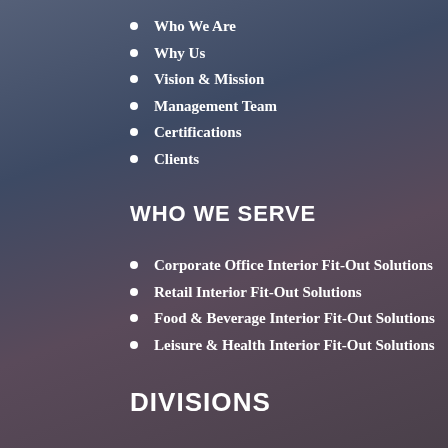Who We Are
Why Us
Vision & Mission
Management Team
Certifications
Clients
WHO WE SERVE
Corporate Office Interior Fit-Out Solutions
Retail Interior Fit-Out Solutions
Food & Beverage Interior Fit-Out Solutions
Leisure & Health Interior Fit-Out Solutions
DIVISIONS